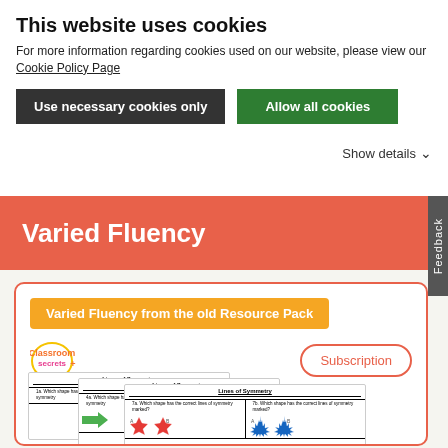This website uses cookies
For more information regarding cookies used on our website, please view our Cookie Policy Page
Use necessary cookies only
Allow all cookies
Show details
Varied Fluency
Feedback
Varied Fluency from the old Resource Pack
[Figure (screenshot): Classroom Secrets logo with colorful text]
Subscription
[Figure (screenshot): Preview of Lines of Symmetry worksheets showing multiple stacked worksheet pages with geometry figures including stars and arrows]